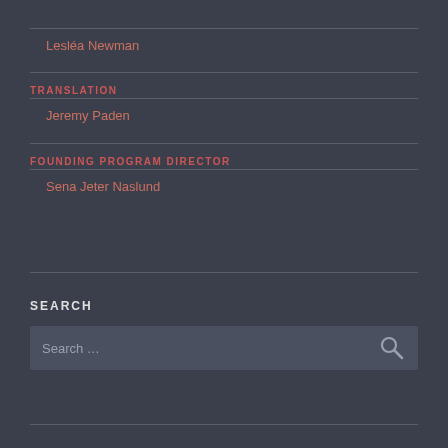Lesléa Newman
TRANSLATION
Jeremy Paden
FOUNDING PROGRAM DIRECTOR
Sena Jeter Naslund
SEARCH